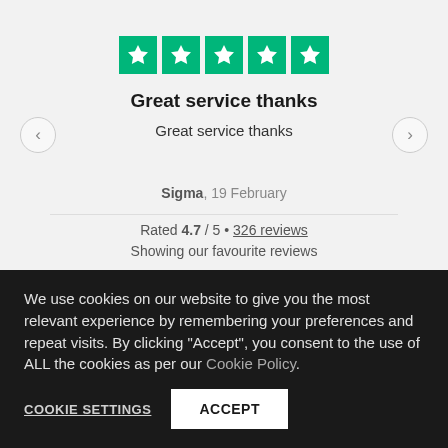[Figure (other): Five green star rating boxes (Trustpilot style), all filled green with white stars]
Great service thanks
Great service thanks
Sigma, 19 February
Rated 4.7 / 5 • 326 reviews
Showing our favourite reviews
We use cookies on our website to give you the most relevant experience by remembering your preferences and repeat visits. By clicking "Accept", you consent to the use of ALL the cookies as per our Cookie Policy.
COOKIE SETTINGS
ACCEPT